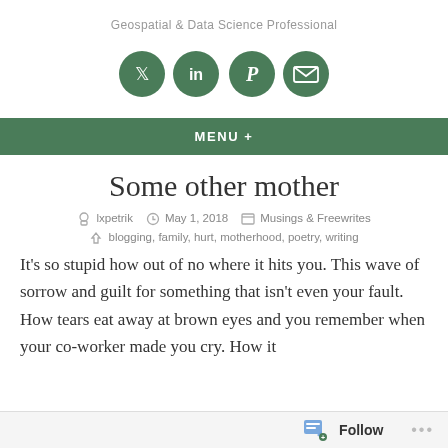Geospatial & Data Science Professional
[Figure (illustration): Four green circular social media icons: Twitter, LinkedIn, Pinterest, Email]
MENU +
Some other mother
lxpetrik   May 1, 2018   Musings & Freewrites
blogging, family, hurt, motherhood, poetry, writing
It's so stupid how out of no where it hits you. This wave of sorrow and guilt for something that isn't even your fault. How tears eat away at brown eyes and you remember when your co-worker made you cry. How it
Follow ...